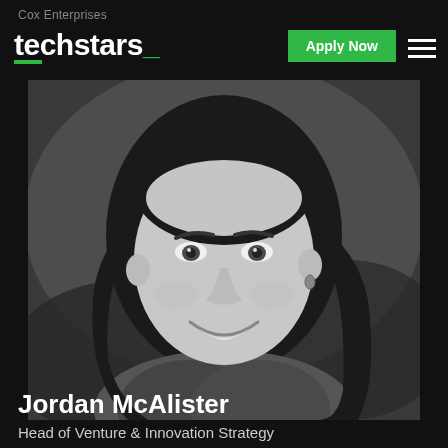Cox Enterprises techstars_ Apply Now
[Figure (photo): Black and white headshot of Jordan McAlister, a woman with long dark hair, smiling, wearing a jacket, photographed outdoors with blurred background.]
Jordan McAlister
Head of Venture & Innovation Strategy